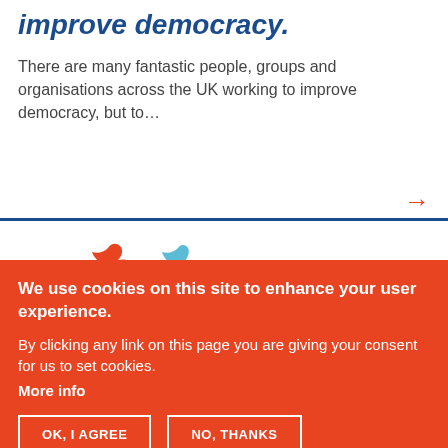improve democracy.
There are many fantastic people, groups and organisations across the UK working to improve democracy, but to…
[Figure (illustration): Orange bird icon (left) and blue bird icon (right) on white background]
We use cookies on this site to enhance your user experience.
By clicking any link on this page you are giving your consent for us to set cookies.
More info
OK, I AGREE   NO, THANKS